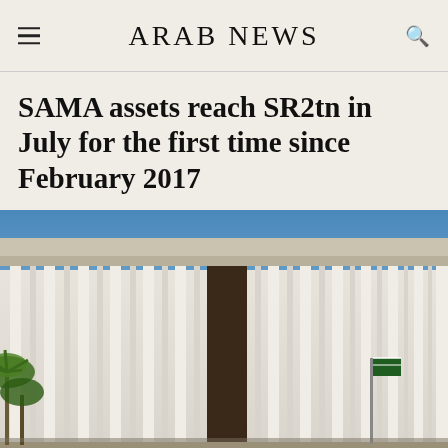ARAB NEWS
SAMA assets reach SR2tn in July for the first time since February 2017
[Figure (photo): Exterior photograph of a modern white government building with tall vertical columns and a wide flat canopy/overhang, photographed from a low angle against a clear blue sky with palm trees visible at the lower left.]